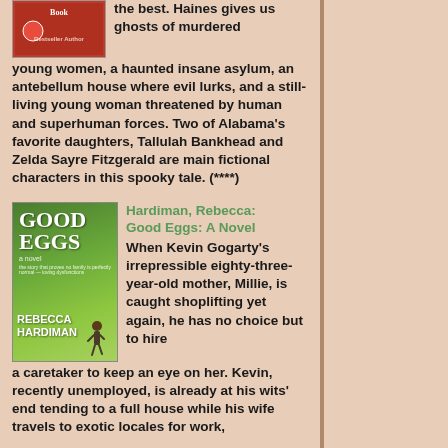[Figure (illustration): Book cover image (partially visible, red background with decorative elements)]
the best. Haines gives us ghosts of murdered young women, a haunted insane asylum, an antebellum house where evil lurks, and a still-living young woman threatened by human and superhuman forces. Two of Alabama's favorite daughters, Tallulah Bankhead and Zelda Sayre Fitzgerald are main fictional characters in this spooky tale. (****)
[Figure (illustration): Book cover: Good Eggs: A Novel by Rebecca Hardiman. Green pastoral landscape with winding path, figure walking.]
Hardiman, Rebecca: Good Eggs: A Novel
When Kevin Gogarty's irrepressible eighty-three-year-old mother, Millie, is caught shoplifting yet again, he has no choice but to hire a caretaker to keep an eye on her. Kevin, recently unemployed, is already at his wits' end tending to a full house while his wife travels to exotic locales for work, leaving him alone with his all...